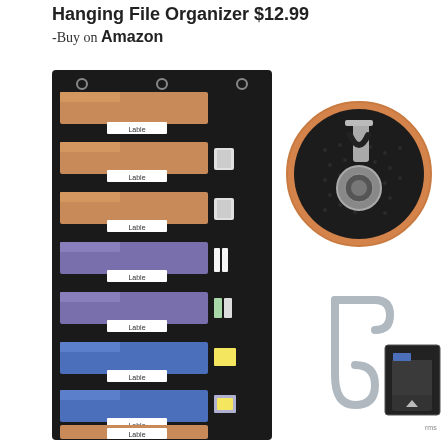Hanging File Organizer $12.99
-Buy on Amazon
[Figure (photo): Black hanging file organizer with multiple pockets containing orange, purple, and blue folders with label tabs, and small accessories in side pockets]
[Figure (photo): Close-up circular detail shot of a metal grommet on black fabric with an orange-bordered circular frame and a hook/clip attached]
[Figure (photo): Metal over-door hook in silver/chrome finish, and a small inset image of the file organizer]